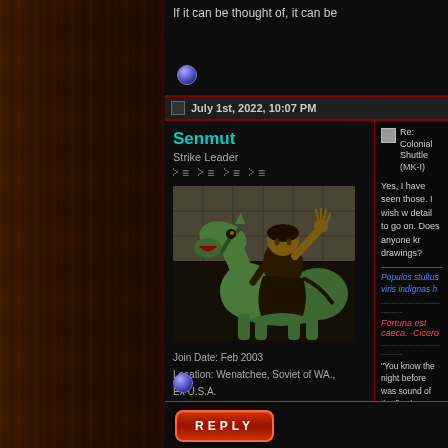If it can be thought of, it can be
July 1st, 2022, 10:07 PM
Senmut
Strike Leader
[Figure (photo): Bronze equestrian statue — a robed figure on horseback with raised arm]
Join Date: Feb 2003
Location: Wenatchee, Soviet of WA., Ex U.S.A.
Posts: 4,467
Re: Colonial Shuttle (MK-I)
Yes, I have seen those. I wish w detail to go on. Does anyone kr drawings?
Populos stultus viris indignas h
Fortuna est caeca. -Cicero
"You know the night before was sound of the fizz hurts your hea
« Previous Thread | Next Thread »